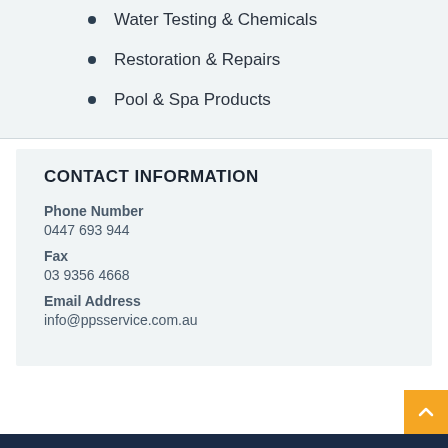Water Testing & Chemicals
Restoration & Repairs
Pool & Spa Products
CONTACT INFORMATION
Phone Number
0447 693 944
Fax
03 9356 4668
Email Address
info@ppsservice.com.au